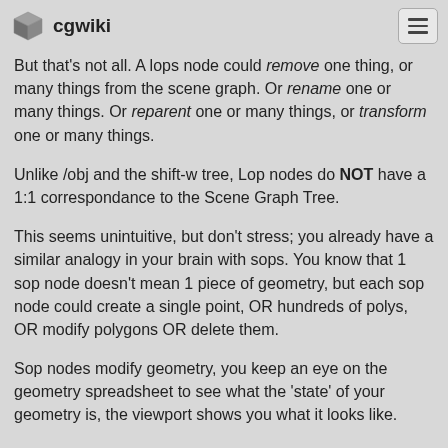cgwiki
But that's not all. A lops node could remove one thing, or many things from the scene graph. Or rename one or many things. Or reparent one or many things, or transform one or many things.
Unlike /obj and the shift-w tree, Lop nodes do NOT have a 1:1 correspondance to the Scene Graph Tree.
This seems unintuitive, but don't stress; you already have a similar analogy in your brain with sops. You know that 1 sop node doesn't mean 1 piece of geometry, but each sop node could create a single point, OR hundreds of polys, OR modify polygons OR delete them.
Sop nodes modify geometry, you keep an eye on the geometry spreadsheet to see what the 'state' of your geometry is, the viewport shows you what it looks like.